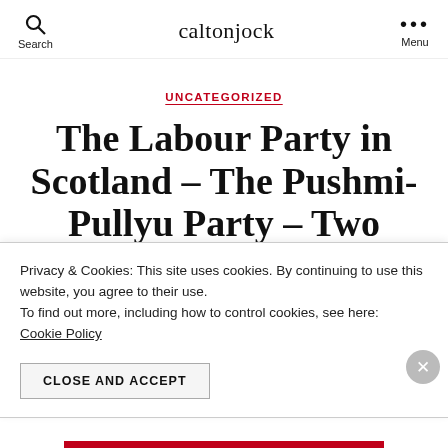Search  caltonjock  Menu
UNCATEGORIZED
The Labour Party in Scotland – The Pushmi-Pullyu Party – Two Leaders
Privacy & Cookies: This site uses cookies. By continuing to use this website, you agree to their use.
To find out more, including how to control cookies, see here:
Cookie Policy
CLOSE AND ACCEPT